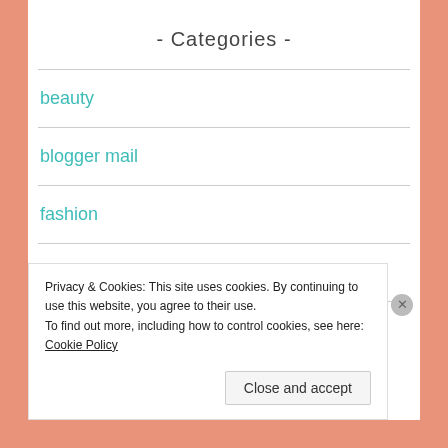- Categories -
beauty
blogger mail
fashion
french pharmacy
fulfillment
Privacy & Cookies: This site uses cookies. By continuing to use this website, you agree to their use.
To find out more, including how to control cookies, see here: Cookie Policy
Close and accept